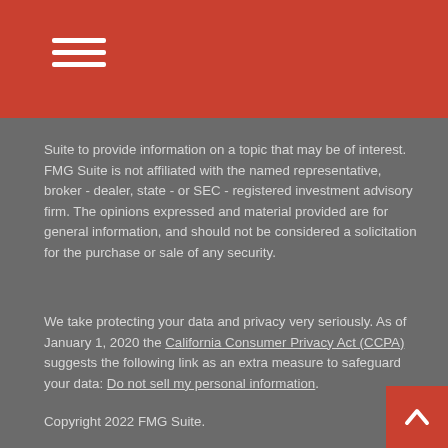Suite to provide information on a topic that may be of interest. FMG Suite is not affiliated with the named representative, broker - dealer, state - or SEC - registered investment advisory firm. The opinions expressed and material provided are for general information, and should not be considered a solicitation for the purchase or sale of any security.
We take protecting your data and privacy very seriously. As of January 1, 2020 the California Consumer Privacy Act (CCPA) suggests the following link as an extra measure to safeguard your data: Do not sell my personal information.
Copyright 2022 FMG Suite.
Investment Insight Wealth Management, LLC is an SEC Registered Investment Adviser. Past performance is not a guarantee of future returns. This website is for informational purposes only and should not be seen as an investment representation or solicitation.No recommendations to buy or sell securities are contained in this website. Advisory services are only offered to clients or prospective clients where Investment Insight Wealth Management, LLC and its representatives are properly licensed or exempt from licensure. No advice may be rendered by Investment Insight Wealth Management, LLC unless a client service agreement is in place.
Form CRS – Client Relationship Summary